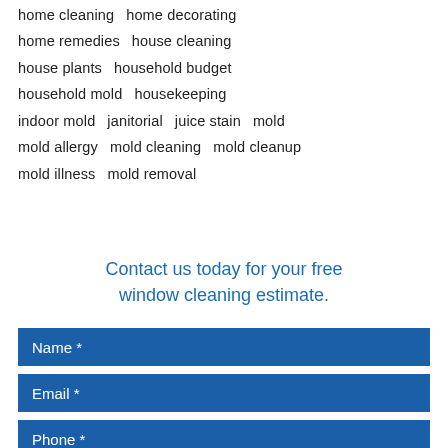home cleaning   home decorating
home remedies   house cleaning
house plants   household budget
household mold   housekeeping
indoor mold   janitorial   juice stain   mold
mold allergy   mold cleaning   mold cleanup
mold illness   mold removal
Contact us today for your free window cleaning estimate.
Name *
Email *
Phone *